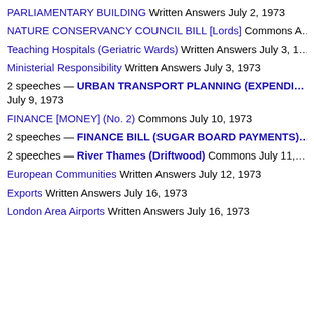PARLIAMENTARY BUILDING Written Answers July 2, 1973
NATURE CONSERVANCY COUNCIL BILL [Lords] Commons A...
Teaching Hospitals (Geriatric Wards) Written Answers July 3, 1...
Ministerial Responsibility Written Answers July 3, 1973
2 speeches — URBAN TRANSPORT PLANNING (EXPENDI... July 9, 1973
FINANCE [MONEY] (No. 2) Commons July 10, 1973
2 speeches — FINANCE BILL (SUGAR BOARD PAYMENTS)...
2 speeches — River Thames (Driftwood) Commons July 11,...
European Communities Written Answers July 12, 1973
Exports Written Answers July 16, 1973
London Area Airports Written Answers July 16, 1973